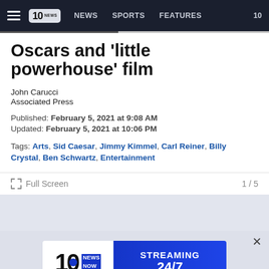10 NEWS | NEWS | SPORTS | FEATURES | 10
Oscars and 'little powerhouse' film
John Carucci
Associated Press
Published: February 5, 2021 at 9:08 AM
Updated: February 5, 2021 at 10:06 PM
Tags: Arts, Sid Caesar, Jimmy Kimmel, Carl Reiner, Billy Crystal, Ben Schwartz, Entertainment
Full Screen
1 / 5
[Figure (screenshot): 10 News Streaming 24/7 advertisement banner]